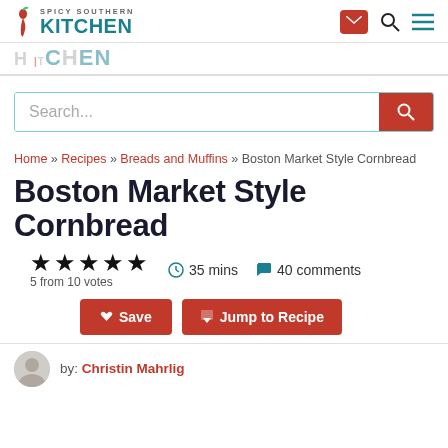SPICY SOUTHERN KITCHEN - navigation header with logo, email, search, and menu icons
KITCHEN (partial logo watermark)
Search...
Home » Recipes » Breads and Muffins » Boston Market Style Cornbread
Boston Market Style Cornbread
★★★★★ 5 from 10 votes  🕐 35 mins  💬 40 comments
Save  Jump to Recipe
by: Christin Mahrlig